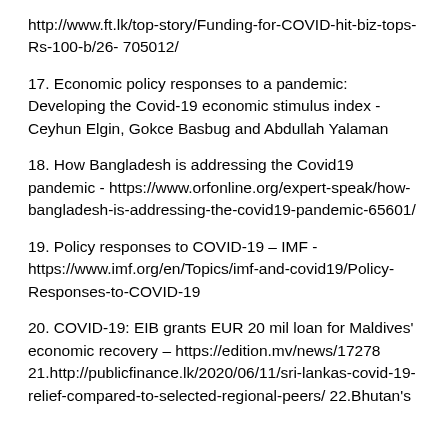http://www.ft.lk/top-story/Funding-for-COVID-hit-biz-tops-Rs-100-b/26- 705012/
17. Economic policy responses to a pandemic: Developing the Covid-19 economic stimulus index - Ceyhun Elgin, Gokce Basbug and Abdullah Yalaman
18. How Bangladesh is addressing the Covid19 pandemic - https://www.orfonline.org/expert-speak/how-bangladesh-is-addressing-the-covid19-pandemic-65601/
19. Policy responses to COVID-19 – IMF - https://www.imf.org/en/Topics/imf-and-covid19/Policy-Responses-to-COVID-19
20. COVID-19: EIB grants EUR 20 mil loan for Maldives' economic recovery – https://edition.mv/news/17278 21.http://publicfinance.lk/2020/06/11/sri-lankas-covid-19-relief-compared-to-selected-regional-peers/ 22.Bhutan's